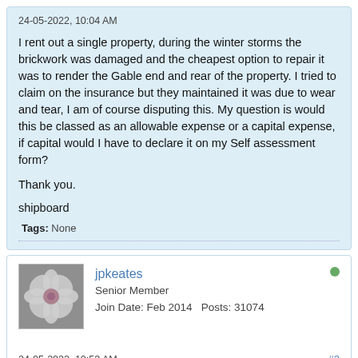24-05-2022, 10:04 AM
I rent out a single property, during the winter storms the brickwork was damaged and the cheapest option to repair it was to render the Gable end and rear of the property. I tried to claim on the insurance but they maintained it was due to wear and tear, I am of course disputing this. My question is would this be classed as an allowable expense or a capital expense, if capital would I have to declare it on my Self assessment form?
Thank you.
shipboard
Tags: None
jpkeates
Senior Member
Join Date: Feb 2014   Posts: 31074
24-05-2022, 10:53 AM
#2